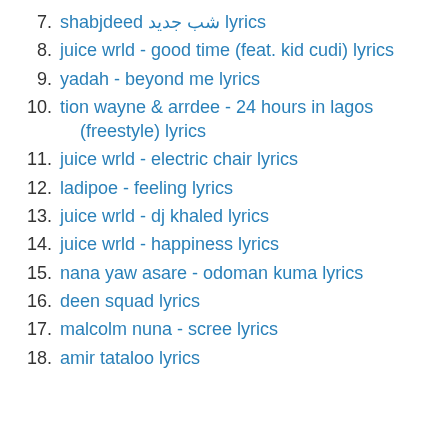7. shabjdeed شب جدید lyrics
8. juice wrld - good time (feat. kid cudi) lyrics
9. yadah - beyond me lyrics
10. tion wayne & arrdee - 24 hours in lagos (freestyle) lyrics
11. juice wrld - electric chair lyrics
12. ladipoe - feeling lyrics
13. juice wrld - dj khaled lyrics
14. juice wrld - happiness lyrics
15. nana yaw asare - odoman kuma lyrics
16. deen squad lyrics
17. malcolm nuna - scree lyrics
18. amir tataloo lyrics